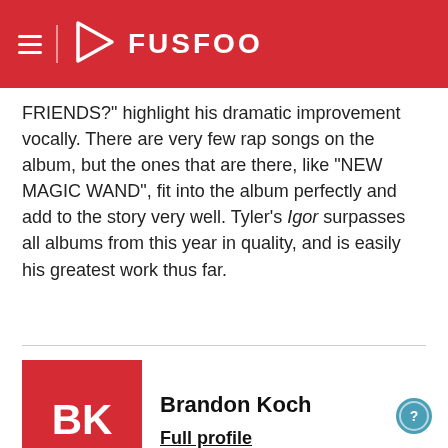FUSFOO
FRIENDS?" highlight his dramatic improvement vocally. There are very few rap songs on the album, but the ones that are there, like "NEW MAGIC WAND", fit into the album perfectly and add to the story very well. Tyler's Igor surpasses all albums from this year in quality, and is easily his greatest work thus far.
Brandon Koch
Full profile
Channel
Music